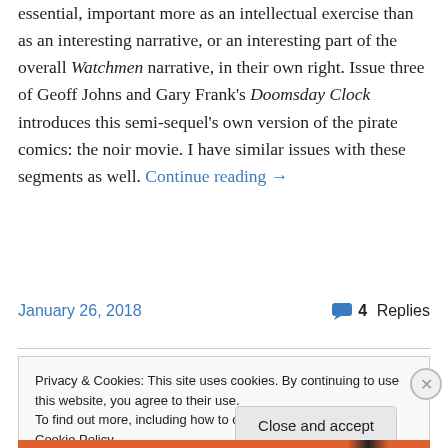essential, important more as an intellectual exercise than as an interesting narrative, or an interesting part of the overall Watchmen narrative, in their own right. Issue three of Geoff Johns and Gary Frank's Doomsday Clock introduces this semi-sequel's own version of the pirate comics: the noir movie. I have similar issues with these segments as well. Continue reading →
January 26, 2018    💬 4 Replies
Privacy & Cookies: This site uses cookies. By continuing to use this website, you agree to their use.
To find out more, including how to control cookies, see here: Cookie Policy
Close and accept